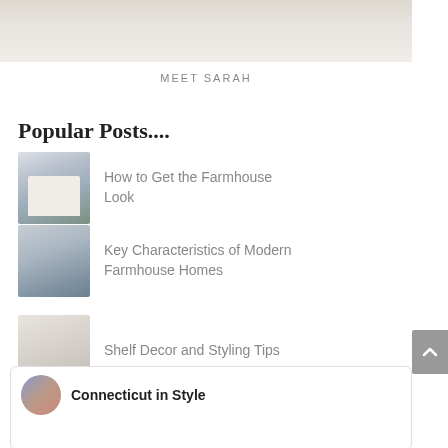[Figure (photo): Partial photo of a person in white clothing against a white/light background, cropped at top]
MEET SARAH
Popular Posts....
How to Get the Farmhouse Look
Key Characteristics of Modern Farmhouse Homes
Shelf Decor and Styling Tips
[Figure (screenshot): Connecticut in Style social widget showing profile avatar, title 'Connecticut in Style', and three flower arrangement photos at bottom]
Connecticut in Style